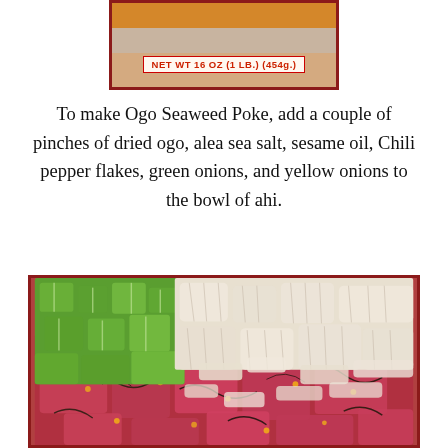[Figure (photo): Product package label showing NET WT 16 OZ (1 LB.) (454g.) on a food packaging with red and yellow colors]
To make Ogo Seaweed Poke, add a couple of pinches of dried ogo, alea sea salt, sesame oil, Chili pepper flakes, green onions, and yellow onions to the bowl of ahi.
[Figure (photo): Close-up photo of a bowl of ahi poke with cubed red tuna, chopped green onions (left), sliced yellow onions (top and right), dark seaweed strands, and visible chili pepper flakes throughout]